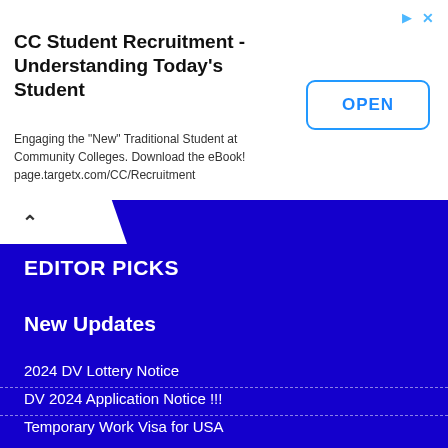[Figure (other): Advertisement banner: CC Student Recruitment - Understanding Today's Student. Engaging the 'New' Traditional Student at Community Colleges. Download the eBook! page.targetx.com/CC/Recruitment. With an OPEN button on the right.]
EDITOR PICKS
New Updates
2024 DV Lottery Notice
DV 2024 Application Notice !!!
Temporary Work Visa for USA
35000 US Work Visa !!!
USA Job with Work Visa !!!